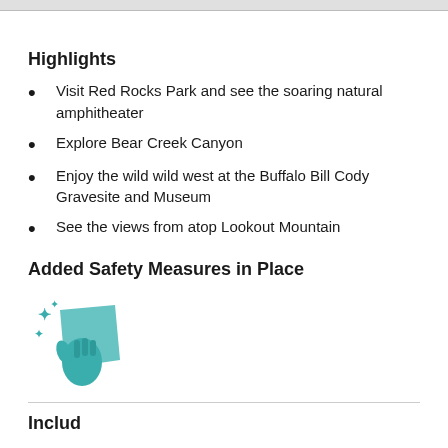Highlights
Visit Red Rocks Park and see the soaring natural amphitheater
Explore Bear Creek Canyon
Enjoy the wild wild west at the Buffalo Bill Cody Gravesite and Museum
See the views from atop Lookout Mountain
Added Safety Measures in Place
[Figure (illustration): Teal/turquoise icon of a gloved hand wiping with a cloth, with sparkle stars indicating cleaning]
Includ...